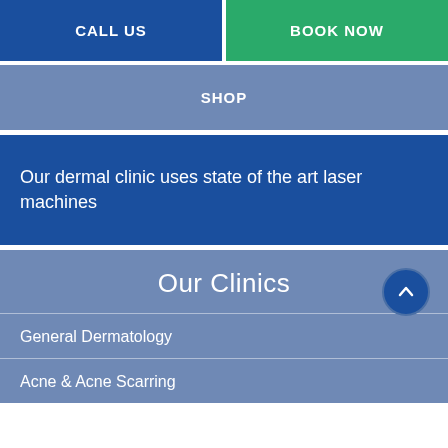CALL US
BOOK NOW
SHOP
Our dermal clinic uses state of the art laser machines
Our Clinics
General Dermatology
Acne & Acne Scarring